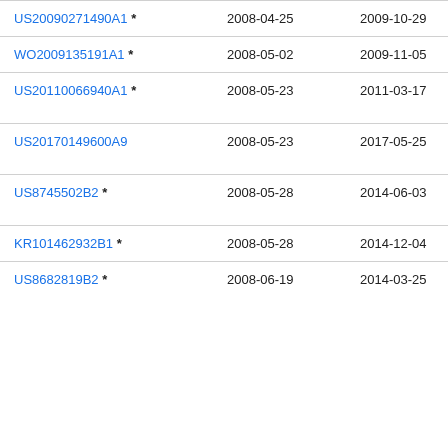| Publication | Filing Date | Publication Date | Assignee |
| --- | --- | --- | --- |
| US20090271490A1 * | 2008-04-25 | 2009-10-29 | Ruc… |
| WO2009135191A1 * | 2008-05-02 | 2009-11-05 | Xti… |
| US20110066940A1 * | 2008-05-23 | 2011-03-17 | Na… Ka… |
| US20170149600A9 | 2008-05-23 | 2017-05-25 | Na… Ka… |
| US8745502B2 * | 2008-05-28 | 2014-06-03 | Sni… Inc |
| KR101462932B1 * | 2008-05-28 | 2014-12-04 | ███ |
| US8682819B2 * | 2008-06-19 | 2014-03-25 | Mic… Co… |